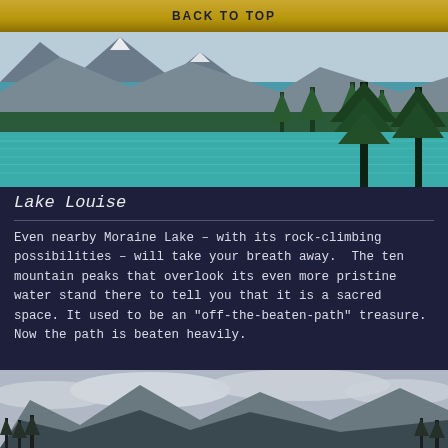BACK TO TOP
[Figure (photo): Lake Louise with turquoise water, mountain peaks, forests, and evergreen trees in foreground]
Lake Louise
Even nearby Moraine Lake – with its rock-climbing possibilities – will take your breath away.  The ten mountain peaks that overlook its even more pristine water stand there to tell you that it is a sacred space. It used to be an "off-the-beaten-path" treasure. Now the path is beaten heavily.
[Figure (photo): Mountain landscape with rocky peaks, trees, and cloudy sky]